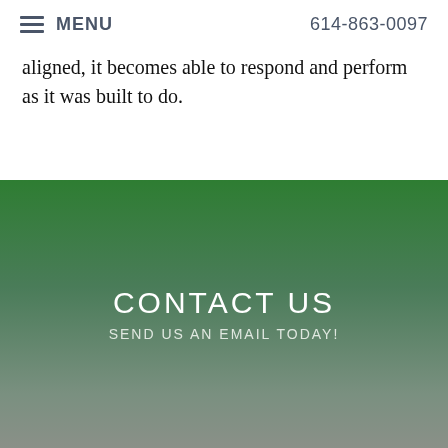MENU   614-863-0097
aligned, it becomes able to respond and perform as it was built to do.
CONTACT US
SEND US AN EMAIL TODAY!